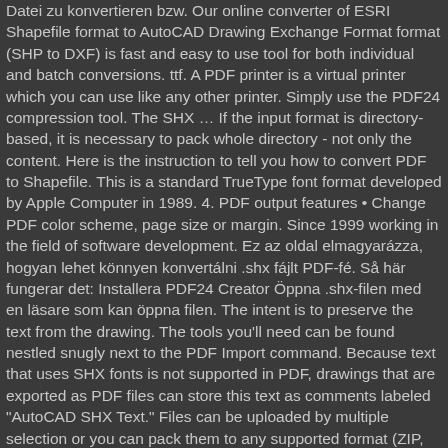Datei zu konvertieren bzw. Our online converter of ESRI Shapefile format to AutoCAD Drawing Exchange Format format (SHP to DXF) is fast and easy to use tool for both individual and batch conversions. ttf. A PDF printer is a virtual printer which you can use like any other printer. Simply use the PDF24 compression tool. The SHX … If the input format is directory-based, it is necessary to pack whole directory - not only the content. Here is the instruction to tell you how to convert PDF to Shapefile. This is a standard TrueType font format developed by Apple Computer in 1989. 4. PDF output features • Change PDF color scheme, page size or margin. Since 1999 working in the field of software development. Ez az oldal elmagyarázza, hogyan lehet könnyen konvertálni .shx fájlt PDF-fé. Så här fungerar det: Installera PDF24 Creator Öppna .shx-filen med en läsare som kan öppna filen. The intent is to preserve the text from the drawing. The tools you'll need can be found nestled snugly next to the PDF Import command. Because text that uses SHX fonts is not supported in PDF, drawings that are exported as PDF files can store this text as comments labeled "AutoCAD SHX Text." Files can be uploaded by multiple selection or you can pack them to any supported format (ZIP, RAR, 7Z, TAR, GZIP). Let us know and we'll reach out by email separately. Conversion fro